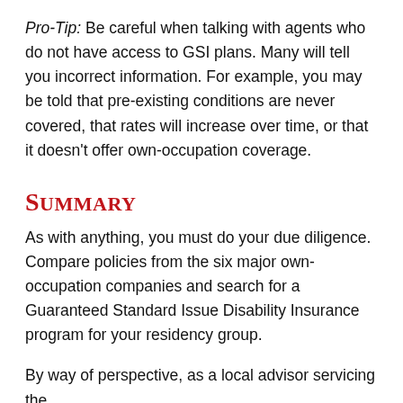Pro-Tip: Be careful when talking with agents who do not have access to GSI plans. Many will tell you incorrect information. For example, you may be told that pre-existing conditions are never covered, that rates will increase over time, or that it doesn't offer own-occupation coverage.
Summary
As with anything, you must do your due diligence. Compare policies from the six major own-occupation companies and search for a Guaranteed Standard Issue Disability Insurance program for your residency group.
By way of perspective, as a local advisor servicing the